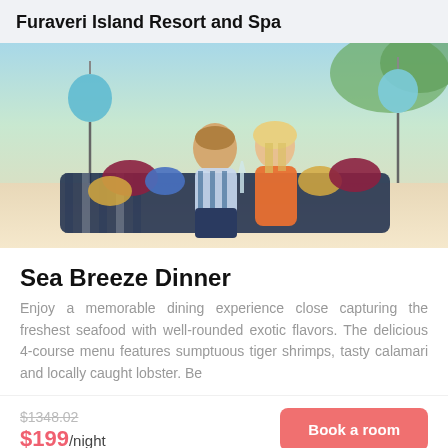Furaveri Island Resort and Spa
[Figure (photo): A couple sitting together on colorful pillows and blankets on a beach, smiling at each other, with blue globe lanterns in the background]
Sea Breeze Dinner
Enjoy a memorable dining experience close capturing the freshest seafood with well-rounded exotic flavors. The delicious 4-course menu features sumptuous tiger shrimps, tasty calamari and locally caught lobster. Be
$1348.02
$199/night
Book a room